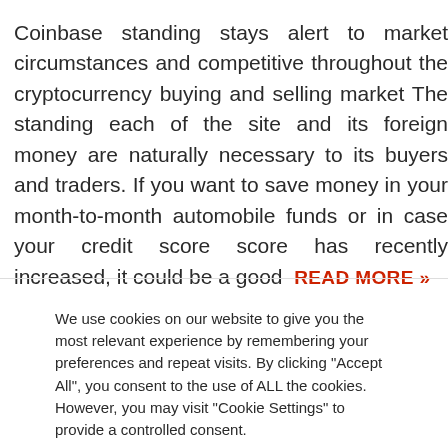Coinbase standing stays alert to market circumstances and competitive throughout the cryptocurrency buying and selling market The standing each of the site and its foreign money are naturally necessary to its buyers and traders. If you want to save money in your month-to-month automobile funds or in case your credit score score has recently increased, it could be a good  READ MORE »
We use cookies on our website to give you the most relevant experience by remembering your preferences and repeat visits. By clicking "Accept All", you consent to the use of ALL the cookies. However, you may visit "Cookie Settings" to provide a controlled consent.